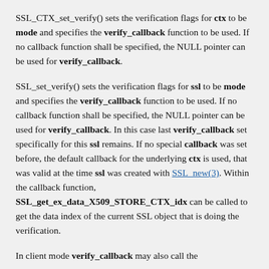SSL_CTX_set_verify() sets the verification flags for ctx to be mode and specifies the verify_callback function to be used. If no callback function shall be specified, the NULL pointer can be used for verify_callback.
SSL_set_verify() sets the verification flags for ssl to be mode and specifies the verify_callback function to be used. If no callback function shall be specified, the NULL pointer can be used for verify_callback. In this case last verify_callback set specifically for this ssl remains. If no special callback was set before, the default callback for the underlying ctx is used, that was valid at the time ssl was created with SSL_new(3). Within the callback function, SSL_get_ex_data_X509_STORE_CTX_idx can be called to get the data index of the current SSL object that is doing the verification.
In client mode verify_callback may also call the